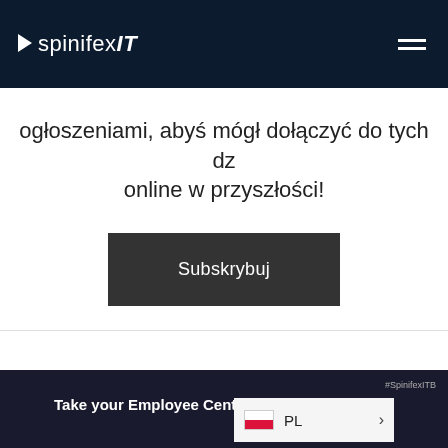spinifexIT
ogłoszeniami, abyś mógł dołączyć do tych dz online w przyszłości!
Subskrybuj
#SpinifexIT
Take your Employee Central Payroll syste xt lev
PL